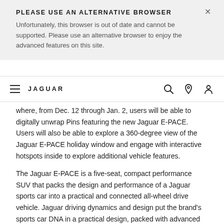PLEASE USE AN ALTERNATIVE BROWSER
Unfortunately, this browser is out of date and cannot be supported. Please use an alternative browser to enjoy the advanced features on this site.
[Figure (other): Jaguar website navigation bar with hamburger menu icon, JAGUAR wordmark logo, search icon, location pin icon, and user/account icon]
where, from Dec. 12 through Jan. 2, users will be able to digitally unwrap Pins featuring the new Jaguar E-PACE. Users will also be able to explore a 360-degree view of the Jaguar E-PACE holiday window and engage with interactive hotspots inside to explore additional vehicle features.
The Jaguar E-PACE is a five-seat, compact performance SUV that packs the design and performance of a Jaguar sports car into a practical and connected all-wheel drive vehicle. Jaguar driving dynamics and design put the brand's sports car DNA in a practical design, packed with advanced technologies to keep the driver connected. The E-PACE is a member of the Jaguar 'PACE' family of SUVs, positioned alongside the all-electric I-PACE and the brand's best-selling vehicle, the Jaguar E-PACE. The Jaguar E-PACE is priced